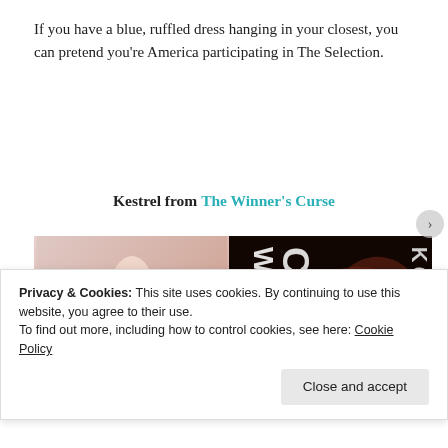If you have a blue, ruffled dress hanging in your closest, you can pretend you’re America participating in The Selection.
Kestrel from The Winner’s Curse
[Figure (photo): Two images side by side: left shows a model in a pink ruffled gown; right shows the book cover of The Winner’s Curse with dark background and white text.]
Privacy & Cookies: This site uses cookies. By continuing to use this website, you agree to their use.
To find out more, including how to control cookies, see here: Cookie Policy
Close and accept